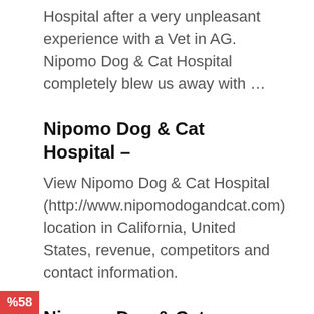Hospital after a very unpleasant experience with a Vet in AG. Nipomo Dog & Cat Hospital completely blew us away with …
Nipomo Dog & Cat Hospital –
View Nipomo Dog & Cat Hospital (http://www.nipomodogandcat.com) location in California, United States, revenue, competitors and contact information.
Nipomo Dog & Cat Hospital Reviews, Ratings – Birdeye
Nipomo Dog &